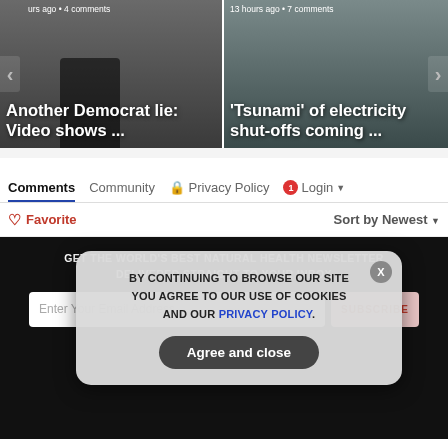[Figure (screenshot): News carousel showing two article thumbnails: 'Another Democrat lie: Video shows ...' and ''Tsunami' of electricity shut-offs coming ...' with navigation arrows]
urs ago • 4 comments
13 hours ago • 7 comments
Another Democrat lie: Video shows ...
'Tsunami' of electricity shut-offs coming ...
Comments	Community	🔒 Privacy Policy	1 Login ▾
♡ Favorite
Sort by Newest ▾
GET THE WORLD'S BEST NATURAL HEALTH NEWSLETTER DELIVERED STRAIGHT TO YOUR INBOX
Enter Your Email Address
SUBSCRIBE
BY CONTINUING TO BROWSE OUR SITE YOU AGREE TO OUR USE OF COOKIES AND OUR PRIVACY POLICY.
Agree and close